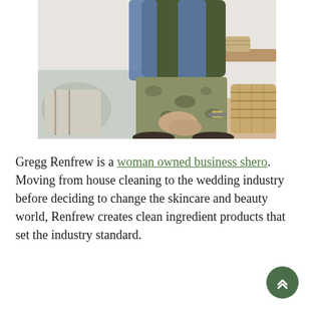[Figure (photo): A woman sitting on or near a couch wearing a dark olive/green t-shirt, denim vest/jacket, and camouflage pants. The background shows home decor items including a wooden table, decorative objects, and a wicker basket. The image is cropped at the torso and below, showing the person's hands clasped together.]
Gregg Renfrew is a woman owned business shero. Moving from house cleaning to the wedding industry before deciding to change the skincare and beauty world, Renfrew creates clean ingredient products that set the industry standard.